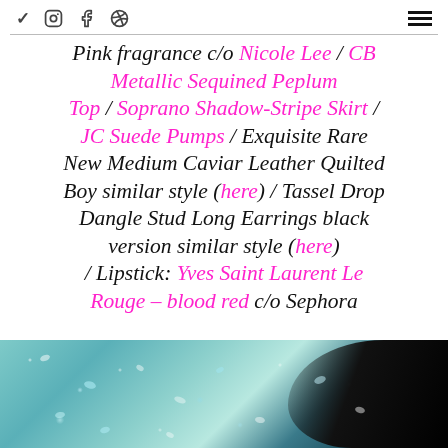Social media icons: Twitter, Instagram, Facebook, Pinterest; Hamburger menu icon
Pink fragrance c/o Nicole Lee / CB Metallic Sequined Peplum Top / Soprano Shadow-Stripe Skirt / JC Suede Pumps / Exquisite Rare New Medium Caviar Leather Quilted Boy similar style (here) / Tassel Drop Dangle Stud Long Earrings black version similar style (here) / Lipstick: Yves Saint Laurent Le Rouge – blood red c/o Sephora
[Figure (photo): Close-up of a woman wearing a teal/blue metallic sequined top, dark hair visible on the right side of the frame]